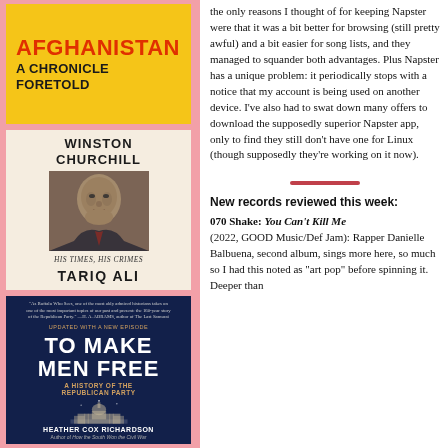[Figure (illustration): Book cover: Afghanistan A Chronicle Foretold, yellow background with red title text]
[Figure (illustration): Book cover: Winston Churchill His Times, His Crimes by Tariq Ali, cream background with portrait illustration]
[Figure (illustration): Book cover: To Make Men Free A History of the Republican Party by Heather Cox Richardson, dark navy background with Capitol building]
the only reasons I thought of for keeping Napster were that it was a bit better for browsing (still pretty awful) and a bit easier for song lists, and they managed to squander both advantages. Plus Napster has a unique problem: it periodically stops with a notice that my account is being used on another device. I've also had to swat down many offers to download the supposedly superior Napster app, only to find they still don't have one for Linux (though supposedly they're working on it now).
New records reviewed this week:
070 Shake: You Can't Kill Me (2022, GOOD Music/Def Jam): Rapper Danielle Balbuena, second album, sings more here, so much so I had this noted as "art pop" before spinning it. Deeper than